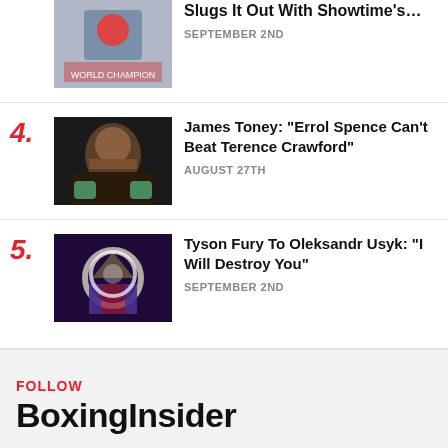[Figure (photo): Partial view of a boxer with championship belts, top of page]
Slugs It Out With Showtime's… SEPTEMBER 2ND
4. James Toney: "Errol Spence Can't Beat Terence Crawford" AUGUST 27TH
5. Tyson Fury To Oleksandr Usyk: "I Will Destroy You" SEPTEMBER 2ND
FOLLOW
BoxingInsider
Spotify